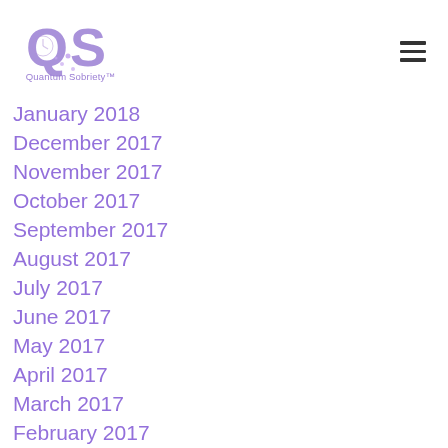[Figure (logo): Quantum Sobriety logo with purple QS letters and sparkle/clock design, text 'Quantum Sobriety™' below]
January 2018
December 2017
November 2017
October 2017
September 2017
August 2017
July 2017
June 2017
May 2017
April 2017
March 2017
February 2017
December 2016
November 2016
October 2016